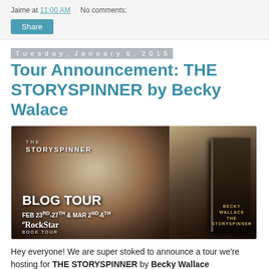Jaime at 11:00 AM   No comments:
Share
Tuesday, January 6, 2015
Tour Announcement: THE STORYSPINNER by Becky Walace
[Figure (photo): Blog Tour banner for THE STORYSPINNER by Becky Wallace. Shows a young woman's face close-up with an arrow, THE STORYSPINNER text, BLOG TOUR FEB 23rd-27th & MAR 2nd-6th, a RockStar Book Tour logo, and a book cover on the right side.]
Hey everyone! We are super stoked to announce a tour we're hosting for THE STORYSPINNER by Becky Wallace